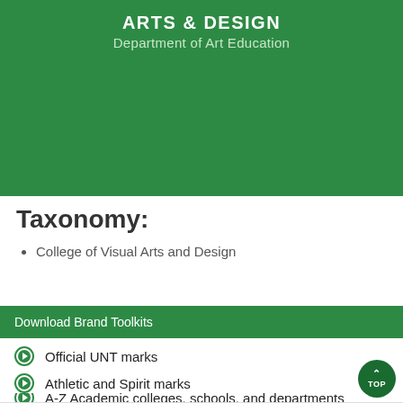ARTS & DESIGN
Department of Art Education
Taxonomy:
College of Visual Arts and Design
Download Brand Toolkits
Official UNT marks
Athletic and Spirit marks
A-Z Academic colleges, schools, and departments
A-Z Divisions, Institutes, and Administrative Units